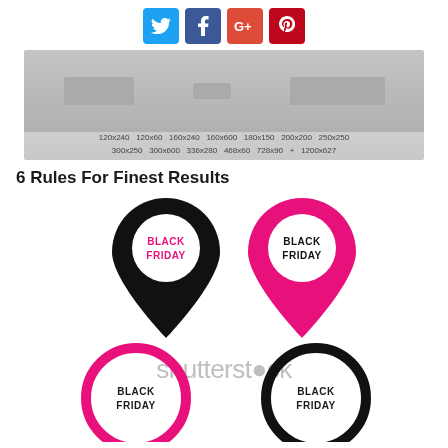Social media icon bar: Twitter, Facebook, Google+, Pinterest
[Figure (screenshot): Banner ad dimensions: 120x240 120x60 160x240 160x600 180x150 200x200 250x250 300x250 300x600 336x280 468x60 728x90 + 1200x627]
6 Rules For Finest Results
[Figure (illustration): Four Black Friday location pin/circle icons: two map pins (black and pink) with 'BLACK FRIDAY' text inside, and two circle icons (pink outline and black outline) with 'BLACK FRIDAY' text, Shutterstock watermark in the center]